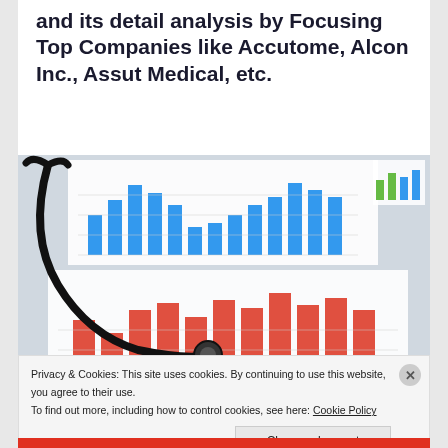and its detail analysis by Focusing Top Companies like Accutome, Alcon Inc., Assut Medical, etc.
[Figure (photo): A stethoscope resting on printed bar charts — one with blue bars and one with red/coral bars — suggesting medical market analysis data.]
Privacy & Cookies: This site uses cookies. By continuing to use this website, you agree to their use.
To find out more, including how to control cookies, see here: Cookie Policy
Close and accept